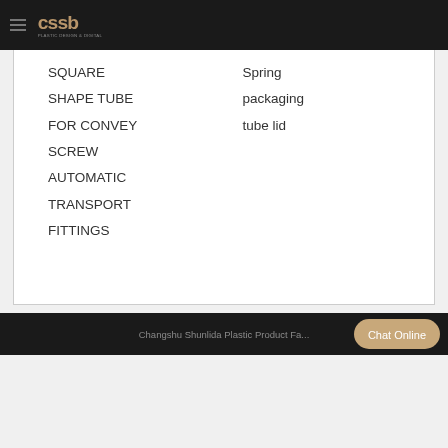cssb - Plastic Design & Digital
SQUARE
SHAPE TUBE
FOR CONVEY
SCREW
AUTOMATIC
TRANSPORT
FITTINGS
Spring
packaging
tube lid
Changshu Shunlida Plastic Product Fa...
Chat Online